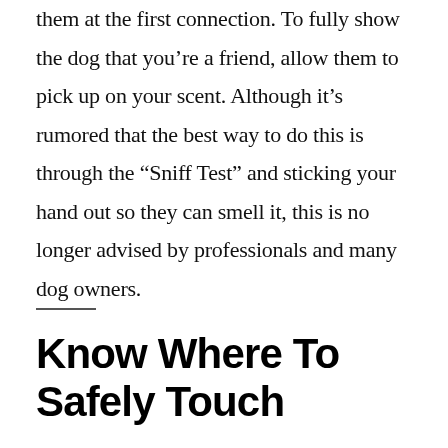them at the first connection. To fully show the dog that you're a friend, allow them to pick up on your scent. Although it's rumored that the best way to do this is through the “Sniff Test” and sticking your hand out so they can smell it, this is no longer advised by professionals and many dog owners.
Know Where To Safely Touch